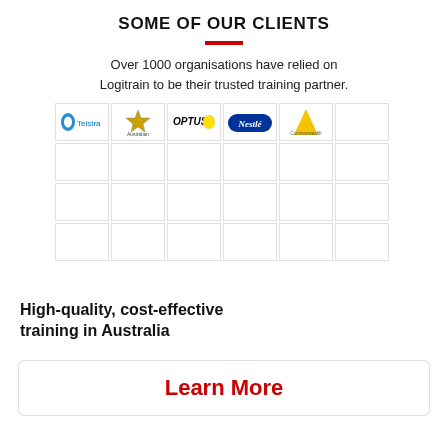SOME OF OUR CLIENTS
Over 1000 organisations have relied on Logitrain to be their trusted training partner.
[Figure (logo): Grid of client logos including Telstra, Australian Government, Optus, Nestle, and Commonwealth Bank in the first row, followed by three more empty/faded rows of logo placeholders.]
High-quality, cost-effective training in Australia
Learn More